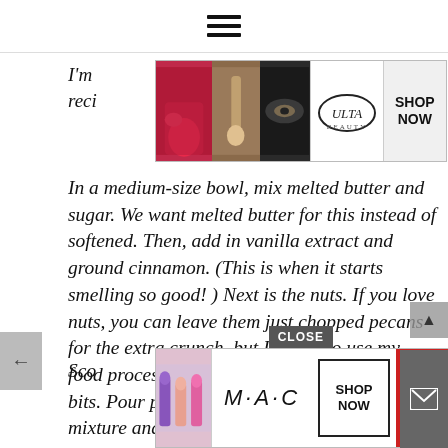≡ (hamburger menu)
[Figure (screenshot): ULTA Beauty advertisement banner with makeup photos and SHOP NOW button]
I'm ... reci...
In a medium-size bowl, mix melted butter and sugar. We want melted butter for this instead of softened. Then, add in vanilla extract and ground cinnamon. (This is when it starts smelling so good!) Next is the nuts. If you love nuts, you can leave them just chopped pecans for the extra crunch, but I prefer to use my food processor to make them into tiny minced bits. Pour pecans, and flour into the filling mixture and stir.
[Figure (screenshot): MAC cosmetics advertisement banner with lipstick photos and SHOP NOW button]
Sco... al...